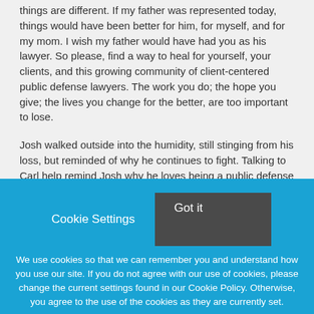things are different. If my father was represented today, things would have been better for him, for myself, and for my mom. I wish my father would have had you as his lawyer. So please, find a way to heal for yourself, your clients, and this growing community of client-centered public defense lawyers. The work you do; the hope you give; the lives you change for the better, are too important to lose.

Josh walked outside into the humidity, still stinging from his loss, but reminded of why he continues to fight. Talking to Carl help remind Josh why he loves being a public defense lawyer. Their conversation reminded Josh that while growth can come from reflecting on and learning from his failures. It also helped him remember that he has to be mindful not to become so focused on his failures, that he allows them to defeat him or hold him back in the fight for True Justice. Josh walked
[Figure (screenshot): Cookie consent banner with blue background. Contains 'Cookie Settings' text button on the left and a dark grey 'Got it' button on the right. Below is cookie policy text: 'We use cookies so that we can remember you and understand how you use our site. If you do not agree with our use of cookies, please change the current settings found in our Cookie Policy. Otherwise, you agree to the use of the cookies as they are currently set.']